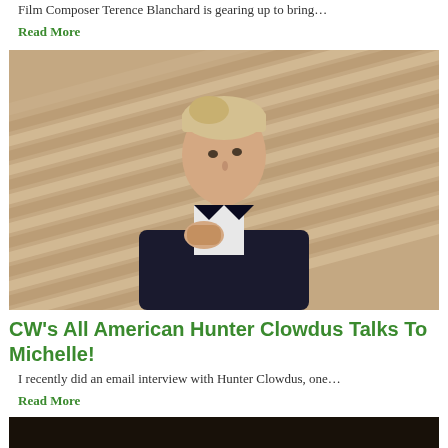Film Composer Terence Blanchard is gearing up to bring…
Read More
[Figure (photo): Young blond man in black jacket against wooden slat wall background]
CW's All American Hunter Clowdus Talks To Michelle!
I recently did an email interview with Hunter Clowdus, one…
Read More
[Figure (photo): Partial dark image at bottom, beginning of another article photo]